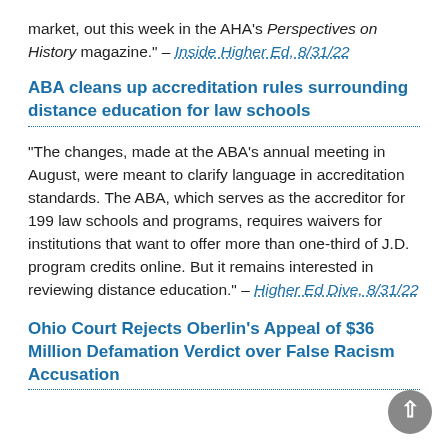market, out this week in the AHA's Perspectives on History magazine." – Inside Higher Ed, 8/31/22
ABA cleans up accreditation rules surrounding distance education for law schools
"The changes, made at the ABA's annual meeting in August, were meant to clarify language in accreditation standards. The ABA, which serves as the accreditor for 199 law schools and programs, requires waivers for institutions that want to offer more than one-third of J.D. program credits online. But it remains interested in reviewing distance education." – Higher Ed Dive, 8/31/22
Ohio Court Rejects Oberlin's Appeal of $36 Million Defamation Verdict over False Racism Accusation